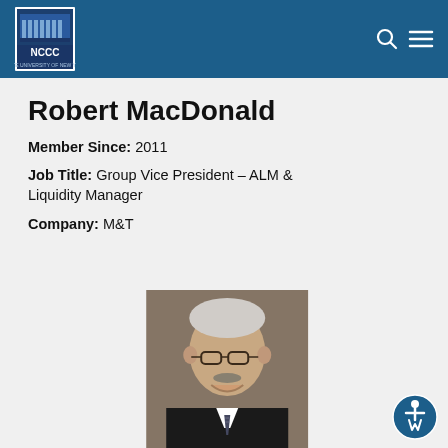NCCC - Niagara County Community College
Robert MacDonald
Member Since: 2011
Job Title: Group Vice President – ALM & Liquidity Manager
Company: M&T
[Figure (photo): Professional headshot of Robert MacDonald, an older man with grey hair, mustache, and glasses, wearing a dark suit and tie, smiling]